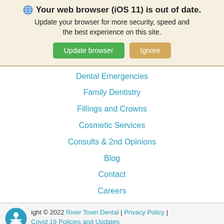🌐 Your web browser (iOS 11) is out of date. Update your browser for more security, speed and the best experience on this site. [Update browser] [Ignore]
Dental Emergencies
Family Dentistry
Fillings and Crowns
Cosmetic Services
Consults & 2nd Opinions
Blog
Contact
Careers
Copyright © 2022 River Town Dental | Privacy Policy | Covid 19 Policies and Updates